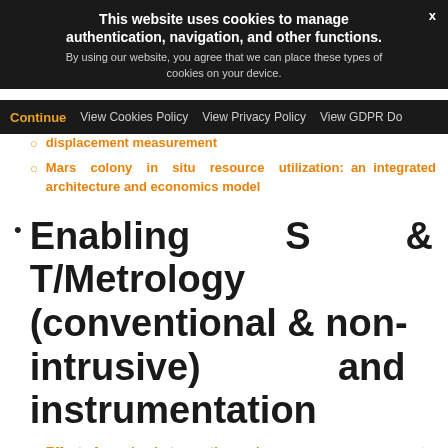This website uses cookies to manage authentication, navigation, and other functions. By using our website, you agree that we can place these types of cookies on your device.
Continue | View Cookies Policy | View Privacy Policy | View GDPR Do
displacement measurement
Mars colony in situ resource utilization: an integrated architecture and economics model
Enabling S & T/Metrology (conventional & non-intrusive) and instrumentation
Effect of spacing between the pusher propeller and wing on environmental